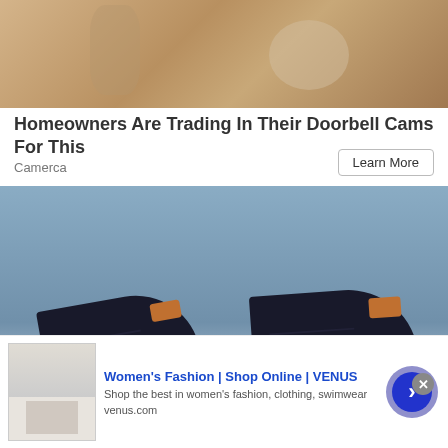[Figure (photo): Close-up photo of sand and shells at top of page]
Homeowners Are Trading In Their Doorbell Cams For This
Camerca
Learn More
[Figure (photo): Dark navy blue sneakers with tan/orange soles and accents, photographed against a blue sky background with sand dunes. Infolinks badge in bottom left corner.]
[Figure (screenshot): Bottom advertisement bar: Women's Fashion | Shop Online | VENUS - Shop the best in women's fashion, clothing, swimwear - venus.com]